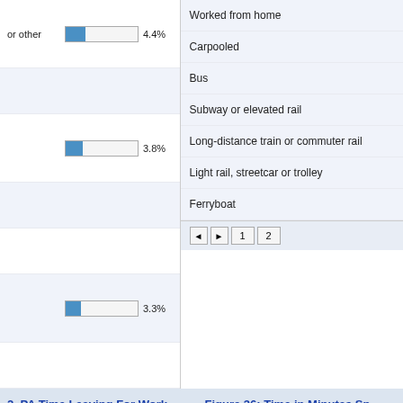| Category | Bar | Pct | Mode |
| --- | --- | --- | --- |
| or other | 4.4% | 4.4% | Worked from home |
|  |  |  | Carpooled |
|  | 3.8% | 3.8% | Bus |
|  |  |  | Subway or elevated rail |
|  |  |  | Long-distance train or commuter rail |
|  | 3.3% | 3.3% | Light rail, streetcar or trolley |
|  |  |  | Ferryboat |
Figure 36: Time in Minutes Sp... to Work
2, PA Time Leaving For Work
[Figure (bar-chart): Bar chart legend showing time departure categories with color codes]
[Figure (bar-chart): Partial bar chart visible at right edge]
[Figure (infographic): Wayfair advertisement banner: Top Appliances Low Prices, Save on best selling brands that live up to the hype, Shop now button]